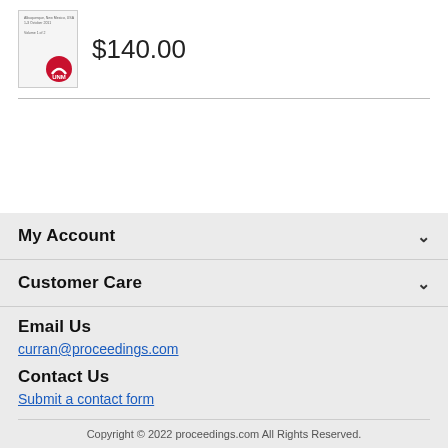[Figure (illustration): Small book cover thumbnail with UNM logo (red circle with white arch) and small text lines at top left]
$140.00
My Account
Customer Care
Email Us
curran@proceedings.com
Contact Us
Submit a contact form
Copyright © 2022 proceedings.com All Rights Reserved.